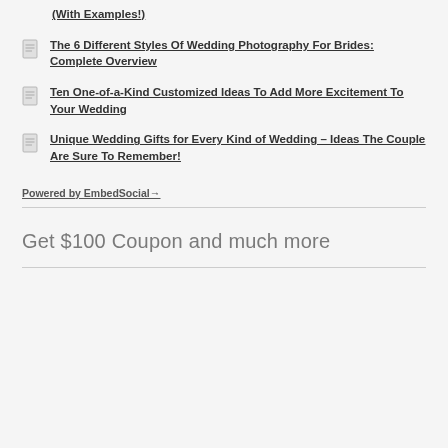(With Examples!)
The 6 Different Styles Of Wedding Photography For Brides: Complete Overview
Ten One-of-a-Kind Customized Ideas To Add More Excitement To Your Wedding
Unique Wedding Gifts for Every Kind of Wedding – Ideas The Couple Are Sure To Remember!
Powered by EmbedSocial→
Get $100 Coupon and much more